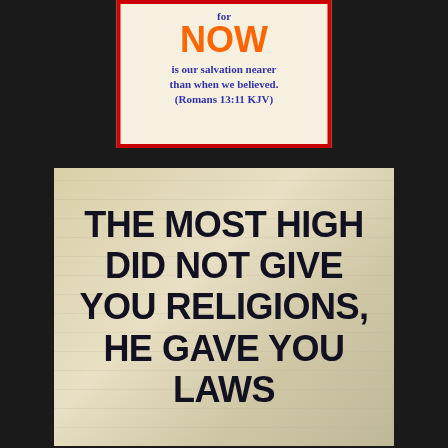[Figure (illustration): Top card with red border on cream background. Text 'for' in small blue bold, 'NOW' in large orange bold, 'is our salvation nearer than when we believed. (Romans 13:11 KJV)' in blue bold text.]
[Figure (illustration): Bottom card with crumpled paper texture background. Large bold dark text reads: 'THE MOST HIGH DID NOT GIVE YOU RELIGIONS, HE GAVE YOU LAWS']